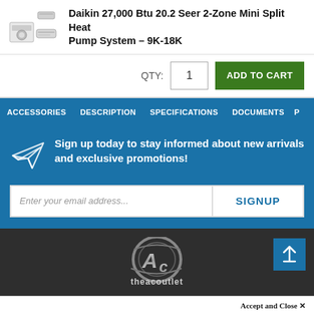Daikin 27,000 Btu 20.2 Seer 2-Zone Mini Split Heat Pump System - 9K-18K
QTY: 1  ADD TO CART
ACCESSORIES  DESCRIPTION  SPECIFICATIONS  DOCUMENTS  P
Sign up today to stay informed about new arrivals and exclusive promotions!
Enter your email address...  SIGNUP
[Figure (logo): theacoutlet logo - stylized silver AC letters in a circle with text 'theacoutlet' beneath]
Accept and Close ✕
Your browser settings do not allow cross-site tracking for advertising. Click on this page to allow AdRoll to use cross-site tracking to tailor ads to you. Learn more or opt out of this AdRoll tracking by clicking here. This message only appears once.